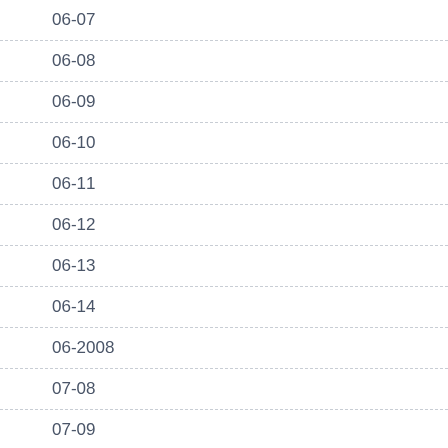06-07
06-08
06-09
06-10
06-11
06-12
06-13
06-14
06-2008
07-08
07-09